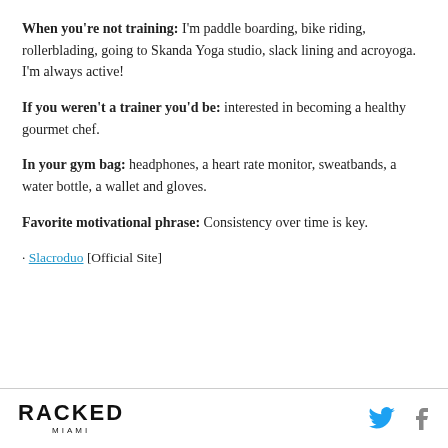When you're not training: I'm paddle boarding, bike riding, rollerblading, going to Skanda Yoga studio, slack lining and acroyoga. I'm always active!
If you weren't a trainer you'd be: interested in becoming a healthy gourmet chef.
In your gym bag: headphones, a heart rate monitor, sweatbands, a water bottle, a wallet and gloves.
Favorite motivational phrase: Consistency over time is key.
· Slacroduo [Official Site]
RACKED MIAMI